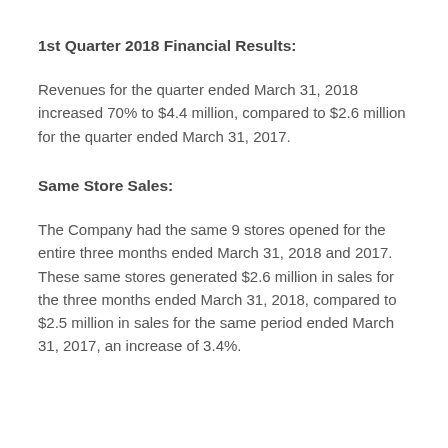1st Quarter 2018 Financial Results:
Revenues for the quarter ended March 31, 2018 increased 70% to $4.4 million, compared to $2.6 million for the quarter ended March 31, 2017.
Same Store Sales:
The Company had the same 9 stores opened for the entire three months ended March 31, 2018 and 2017. These same stores generated $2.6 million in sales for the three months ended March 31, 2018, compared to $2.5 million in sales for the same period ended March 31, 2017, an increase of 3.4%.